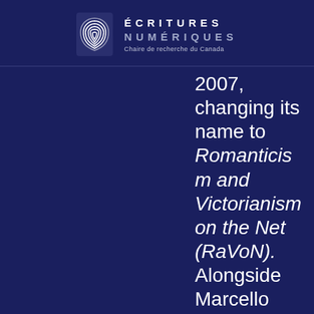ÉCRITURES NUMÉRIQUES — Chaire de recherche du Canada
2007, changing its name to Romanticism and Victorianism on the Net (RaVoN). Alongside Marcello